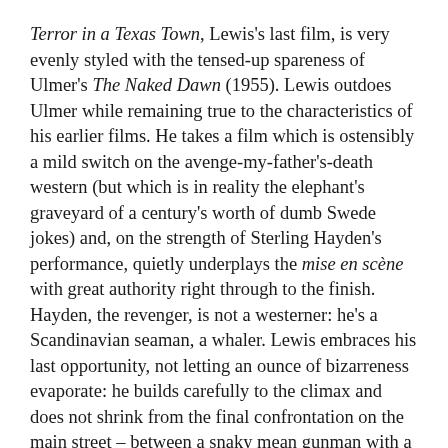Terror in a Texas Town, Lewis's last film, is very evenly styled with the tensed-up spareness of Ulmer's The Naked Dawn (1955). Lewis outdoes Ulmer while remaining true to the characteristics of his earlier films. He takes a film which is ostensibly a mild switch on the avenge-my-father's-death western (but which is in reality the elephant's graveyard of a century's worth of dumb Swede jokes) and, on the strength of Sterling Hayden's performance, quietly underplays the mise en scène with great authority right through to the finish. Hayden, the revenger, is not a westerner: he's a Scandinavian seaman, a whaler. Lewis embraces his last opportunity, not letting an ounce of bizarreness evaporate: he builds carefully to the climax and does not shrink from the final confrontation on the main street – between a snaky mean gunman with a .45 and Hayden, no gun, just his harpoon.
It is clear why Lewis's career is most popular with image-oriented, and particularly surrealist, critics. What separates Lewis from an auteur like Siodmak is a consistent style. Lewis is extremely accomplished and applies fresh solutions to stock scenes but, unlike Preminger, for instance, no consistent style of image — in some other period, lewis is POV...